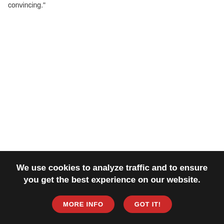convincing."
Ashley Judd said that her mother shot herself with a gun, but asked for privacy on other details of the death. Naomi Judd wrote openly
We use cookies to analyze traffic and to ensure you get the best experience on our website.